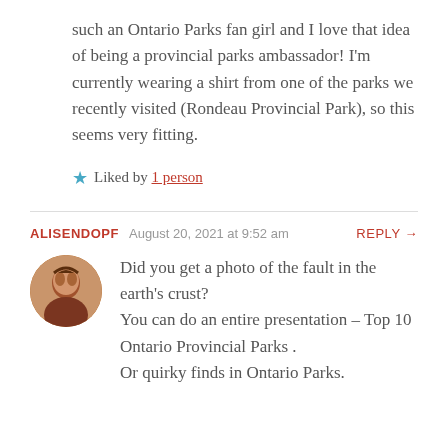such an Ontario Parks fan girl and I love that idea of being a provincial parks ambassador! I'm currently wearing a shirt from one of the parks we recently visited (Rondeau Provincial Park), so this seems very fitting.
Liked by 1 person
ALISENDOPF   August 20, 2021 at 9:52 am   REPLY →
Did you get a photo of the fault in the earth's crust?
You can do an entire presentation – Top 10 Ontario Provincial Parks .
Or quirky finds in Ontario Parks.